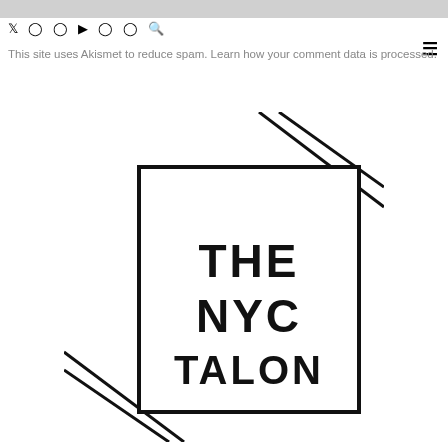This site uses Akismet to reduce spam. Learn how your comment data is processed.
[Figure (logo): The NYC Talon logo: a square with bold text reading THE NYC TALON, with two diagonal lines crossing through the top-right corner and bottom-left corner of the square, creating a dynamic geometric design.]